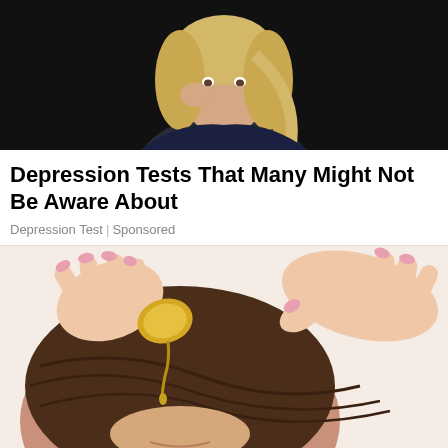[Figure (photo): Woman with blonde hair sitting against dark background, looking stressed or thoughtful, hand near face]
Depression Tests That Many Might Not Be Aware About
Depression Test | Sponsored
[Figure (illustration): Illustrated image of hands applying oil from a coin-shaped object to a person's scalp/hair, cartoon style]
Treatments for Biologic Scalp Psoriasis You May